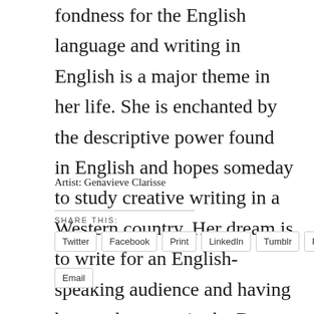fondness for the English language and writing in English is a major theme in her life. She is enchanted by the descriptive power found in English and hopes someday to study creative writing in a Western country. Her dream is to write for an English-speaking audience and having her work appear in the Dream Noir is an important step toward that goal.
Artist: Genavieve Clarisse
SHARE THIS:
Twitter
Facebook
Print
LinkedIn
Tumblr
Pocket
Email